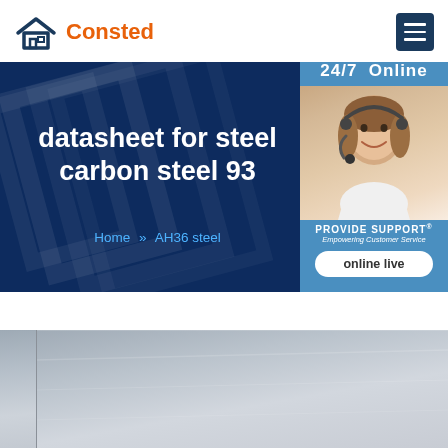Consted
datasheet for steel carbon steel 93
Home >> AH36 steel
[Figure (photo): Customer support representative (woman with headset) alongside '24/7 Online' banner, 'PROVIDE SUPPORT® Empowering Customer Service' branding, and 'online live' button]
[Figure (photo): Close-up photo of steel sheet/plate surface, partially visible at bottom of page]